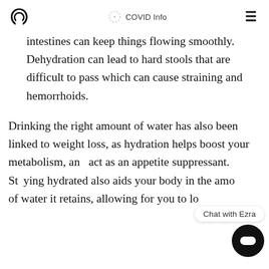COVID Info
intestines can keep things flowing smoothly. Dehydration can lead to hard stools that are difficult to pass which can cause straining and hemorrhoids.
Drinking the right amount of water has also been linked to weight loss, as hydration helps boost your metabolism, and act as an appetite suppressant. Staying hydrated also aids your body in the amount of water it retains, allowing for you to los